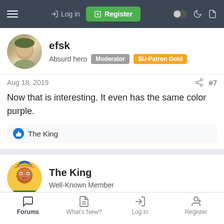Log in | Register
efsk
Absurd hero  Moderator  SU-Patron Gold
Aug 18, 2019  #7
Now that is interesting. It even has the same color purple.
The King
The King
Well-Known Member
Aug 18, 2019  #8
The all-metal Muleute Needlepoint is my favorite clent
Forums  What's New?  Log In  Register